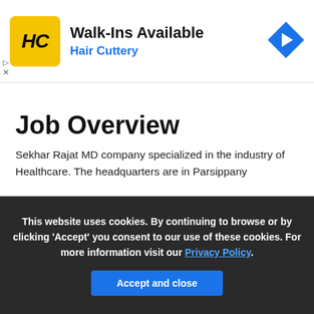[Figure (screenshot): Hair Cuttery advertisement banner with yellow HC logo, 'Walk-Ins Available' heading, 'Hair Cuttery' subtitle in blue, and a blue diamond direction arrow icon on the right]
Job Overview
Sekhar Rajat MD company specialized in the industry of Healthcare. The headquarters are in Parsippany
[Figure (screenshot): Dark background image strip with repeating stylized person/user icons in dark gray]
This website uses cookies. By continuing to browse or by clicking 'Accept' you consent to our use of these cookies. For more information visit our Privacy Policy.
Accept and close